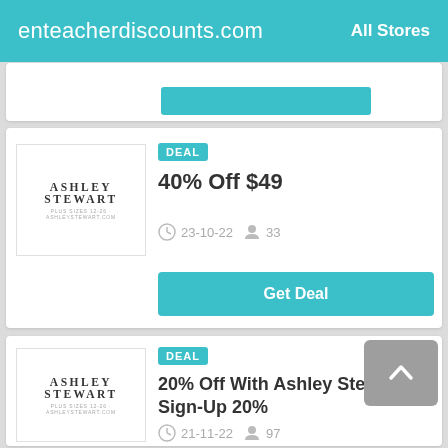enteacherdiscounts.com  All Stores
DEAL
40% Off $49
23-10-22  33
Get Deal
[Figure (logo): Ashley Stewart plus sizes 12-26 logo]
DEAL
20% Off With Ashley Stewart Sign-Up 20%
21-11-22  97
[Figure (logo): Ashley Stewart plus sizes 12-26 logo]